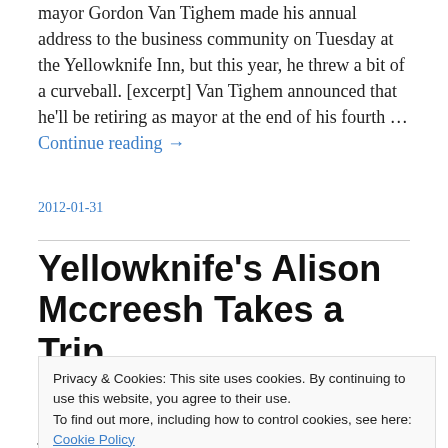mayor Gordon Van Tighem made his annual address to the business community on Tuesday at the Yellowknife Inn, but this year, he threw a bit of a curveball. [excerpt] Van Tighem announced that he'll be retiring as mayor at the end of his fourth … Continue reading →
2012-01-31
Yellowknife's Alison Mccreesh Takes a Trip
Privacy & Cookies: This site uses cookies. By continuing to use this website, you agree to their use. To find out more, including how to control cookies, see here: Cookie Policy
journal – in several installments (just keep on scrolling